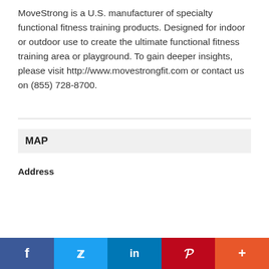MoveStrong is a U.S. manufacturer of specialty functional fitness training products. Designed for indoor or outdoor use to create the ultimate functional fitness training area or playground. To gain deeper insights, please visit http://www.movestrongfit.com or contact us on (855) 728-8700.
MAP
Address
[Figure (screenshot): A map interface with an address text input field and a 'Get Driving Directions' button, followed by a grey map area placeholder.]
Social sharing bar with Facebook, Twitter, LinkedIn, Pinterest, and More buttons